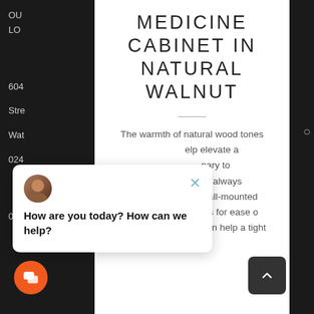MEDICINE CABINET IN NATURAL WALNUT
The warmth of natural wood tones help elevate a ...inary to ...ain, I always gravitate towards wall-mounted objects in bathrooms for ease of cleaning, but it also can help a tight
[Figure (screenshot): Chat widget popup with avatar, close button, and message 'How are you today? How can we help?']
How are you today? How can we help?